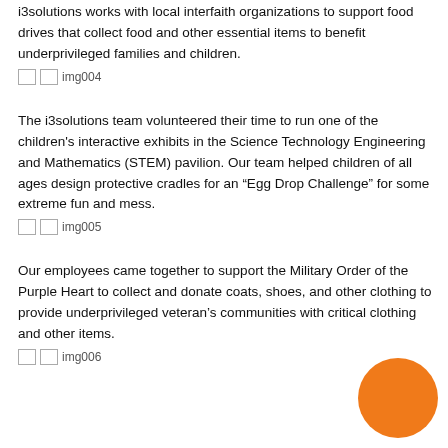i3solutions works with local interfaith organizations to support food drives that collect food and other essential items to benefit underprivileged families and children.
[Figure (photo): img004 placeholder image]
The i3solutions team volunteered their time to run one of the children's interactive exhibits in the Science Technology Engineering and Mathematics (STEM) pavilion. Our team helped children of all ages design protective cradles for an “Egg Drop Challenge” for some extreme fun and mess.
[Figure (photo): img005 placeholder image]
Our employees came together to support the Military Order of the Purple Heart to collect and donate coats, shoes, and other clothing to provide underprivileged veteran’s communities with critical clothing and other items.
[Figure (photo): img006 placeholder image]